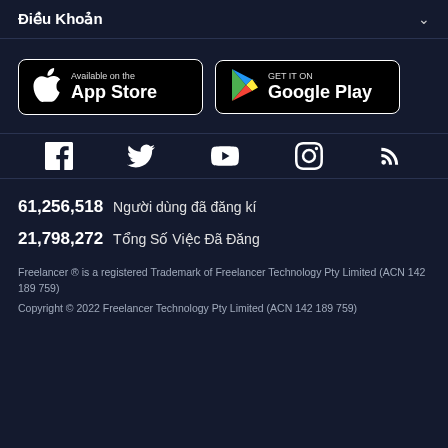Điều Khoản
[Figure (logo): App Store and Google Play download buttons]
[Figure (infographic): Social media icons: Facebook, Twitter, YouTube, Instagram, RSS]
61,256,518  Người dùng đã đăng kí
21,798,272  Tổng Số Việc Đã Đăng
Freelancer ® is a registered Trademark of Freelancer Technology Pty Limited (ACN 142 189 759)
Copyright © 2022 Freelancer Technology Pty Limited (ACN 142 189 759)